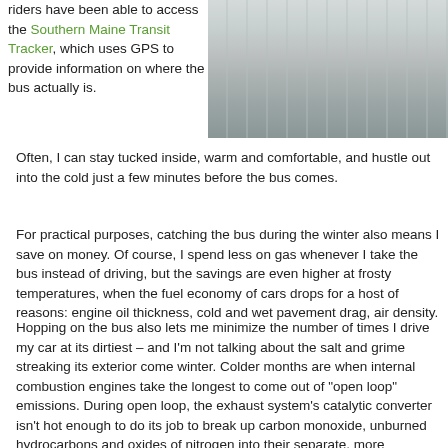riders have been able to access the Southern Maine Transit Tracker, which uses GPS to provide information on where the bus actually is. Often, I can stay tucked inside, warm and comfortable, and hustle out into the cold just a few minutes before the bus comes.
[Figure (photo): Photo of a snowy winter scene with ice-covered fencing or structures along a path]
For practical purposes, catching the bus during the winter also means I save on money. Of course, I spend less on gas whenever I take the bus instead of driving, but the savings are even higher at frosty temperatures, when the fuel economy of cars drops for a host of reasons: engine oil thickness, cold and wet pavement drag, air density.
Hopping on the bus also lets me minimize the number of times I drive my car at its dirtiest – and I’m not talking about the salt and grime streaking its exterior come winter. Colder months are when internal combustion engines take the longest to come out of “open loop” emissions. During open loop, the exhaust system’s catalytic converter isn’t hot enough to do its job to break up carbon monoxide, unburned hydrocarbons and oxides of nitrogen into their separate, more innocuous molecules. The converter needs to be between 400 and 600 degrees F to start working and close the loop. It then operates normally at 1200 to 1600 degrees. Until it reaches these temperatures, the exhaust system dumps our engine’s output straight into our lovely Maine air. (If you drive an electric vehicle, you needn’t worry about this. B